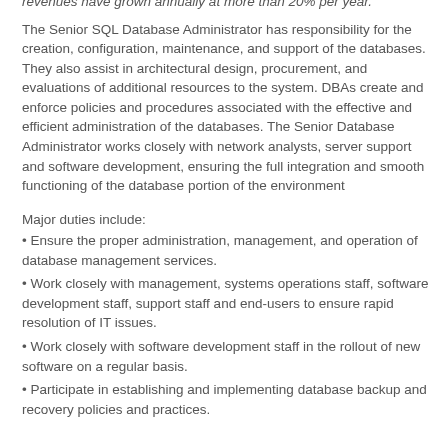revenues have grown annually at more than 20% per year.
The Senior SQL Database Administrator has responsibility for the creation, configuration, maintenance, and support of the databases. They also assist in architectural design, procurement, and evaluations of additional resources to the system. DBAs create and enforce policies and procedures associated with the effective and efficient administration of the databases. The Senior Database Administrator works closely with network analysts, server support and software development, ensuring the full integration and smooth functioning of the database portion of the environment
Major duties include:
Ensure the proper administration, management, and operation of database management services.
Work closely with management, systems operations staff, software development staff, support staff and end-users to ensure rapid resolution of IT issues.
Work closely with software development staff in the rollout of new software on a regular basis.
Participate in establishing and implementing database backup and recovery policies and practices.